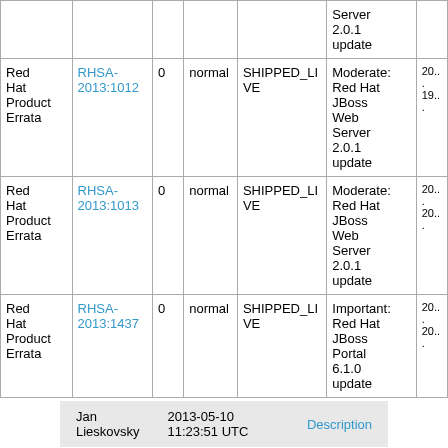| Type | Advisory | Bugs | Priority | Status | Synopsis | Date |
| --- | --- | --- | --- | --- | --- | --- |
|  |  |  |  |  | Server 2.0.1 update |  |
| Red Hat Product Errata | RHSA-2013:1012 | 0 | normal | SHIPPED_LIVE | Moderate: Red Hat JBoss Web Server 2.0.1 update | 201...19... |
| Red Hat Product Errata | RHSA-2013:1013 | 0 | normal | SHIPPED_LIVE | Moderate: Red Hat JBoss Web Server 2.0.1 update | 201...20... |
| Red Hat Product Errata | RHSA-2013:1437 | 0 | normal | SHIPPED_LIVE | Important: Red Hat JBoss Portal 6.1.0 update | 201...20... |
Jan Lieskovsky    2013-05-10 11:23:51 UTC    Description